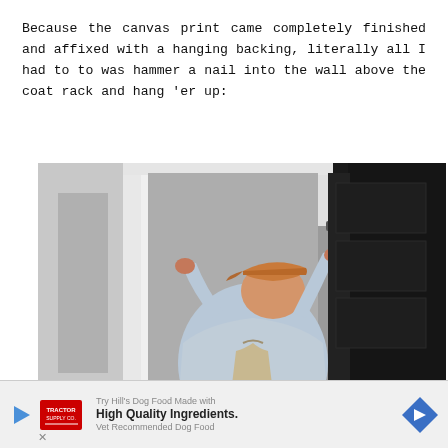Because the canvas print came completely finished and affixed with a hanging backing, literally all I had to to was hammer a nail into the wall above the coat rack and hang 'er up:
[Figure (photo): A man wearing a baseball cap and light blue shirt, viewed from behind, hammering a nail into a gray wall near a white door frame and a dark (black) door panel. A bag hangs on the wall below his arms.]
Try Hill's Dog Food Made with High Quality Ingredients.
Vet Recommended Dog Food